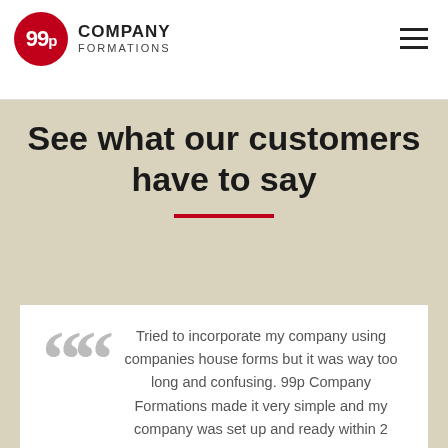[Figure (logo): 99p Company Formations logo — red circle with '99p' in white, next to 'COMPANY FORMATIONS' text in dark]
See what our customers have to say
Tried to incorporate my company using companies house forms but it was way too long and confusing. 99p Company Formations made it very simple and my company was set up and ready within 2